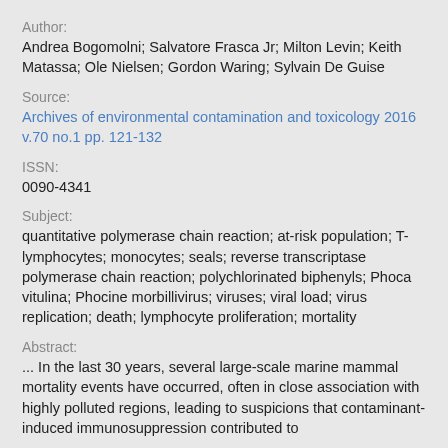Author:
Andrea Bogomolni; Salvatore Frasca Jr; Milton Levin; Keith Matassa; Ole Nielsen; Gordon Waring; Sylvain De Guise
Source:
Archives of environmental contamination and toxicology 2016 v.70 no.1 pp. 121-132
ISSN:
0090-4341
Subject:
quantitative polymerase chain reaction; at-risk population; T-lymphocytes; monocytes; seals; reverse transcriptase polymerase chain reaction; polychlorinated biphenyls; Phoca vitulina; Phocine morbillivirus; viruses; viral load; virus replication; death; lymphocyte proliferation; mortality
Abstract:
... In the last 30 years, several large-scale marine mammal mortality events have occurred, often in close association with highly polluted regions, leading to suspicions that contaminant-induced immunosuppression contributed to